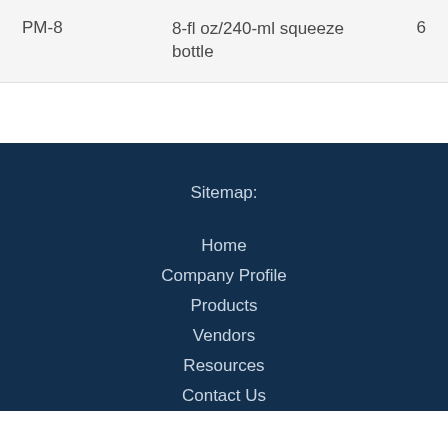| PM-8 | 8-fl oz/240-ml squeeze bottle | 6 |
Sitemap:
Home
Company Profile
Products
Vendors
Resources
Contact Us